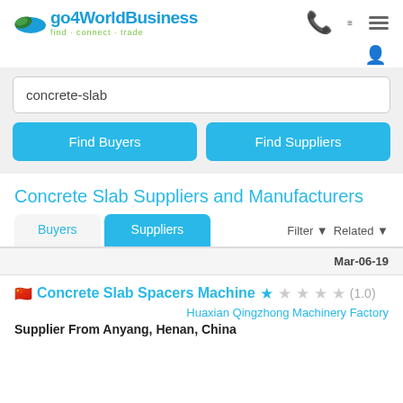go4WorldBusiness find · connect · trade
concrete-slab
Find Buyers | Find Suppliers
Concrete Slab Suppliers and Manufacturers
Buyers   Suppliers   Filter ▼   Related ▼
Mar-06-19
Concrete Slab Spacers Machine ★ ★ ★ ★ ★ (1.0)
Huaxian Qingzhong Machinery Factory
Supplier From Anyang, Henan, China